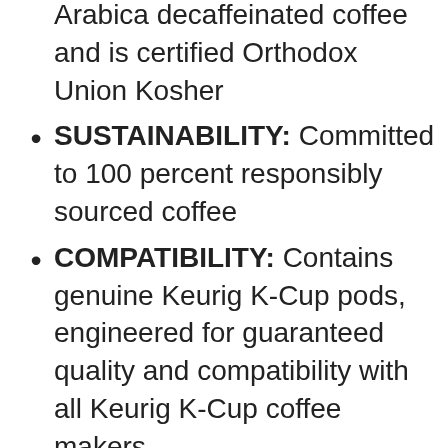Arabica decaffeinated coffee and is certified Orthodox Union Kosher
SUSTAINABILITY: Committed to 100 percent responsibly sourced coffee
COMPATIBILITY: Contains genuine Keurig K-Cup pods, engineered for guaranteed quality and compatibility with all Keurig K-Cup coffee makers
RECYCLABLE K-CUP PODS: Simple. Delicious. And Recyclable. Enjoy the same great-tasting coffee you know and love, and when you’re done just peel, empty and